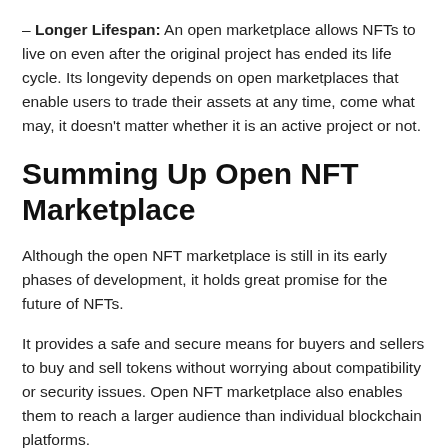– Longer Lifespan: An open marketplace allows NFTs to live on even after the original project has ended its life cycle. Its longevity depends on open marketplaces that enable users to trade their assets at any time, come what may, it doesn't matter whether it is an active project or not.
Summing Up Open NFT Marketplace
Although the open NFT marketplace is still in its early phases of development, it holds great promise for the future of NFTs.
It provides a safe and secure means for buyers and sellers to buy and sell tokens without worrying about compatibility or security issues. Open NFT marketplace also enables them to reach a larger audience than individual blockchain platforms.
Overall, the open NFT marketplace offers several key benefits that make it an attractive option for buyers and sellers. It's quickly becoming the go-to platform for people looking to sell their